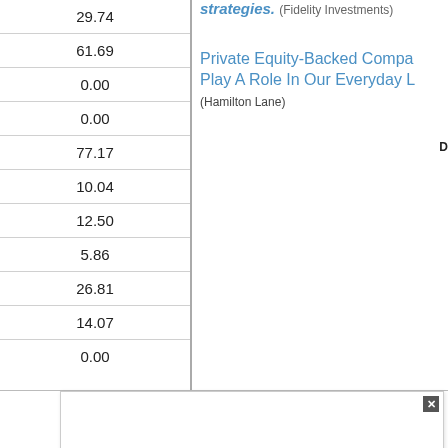| 29.74 |
| 61.69 |
| 0.00 |
| 0.00 |
| 77.17 |
| 10.04 |
| 12.50 |
| 5.86 |
| 26.81 |
| 14.07 |
| 0.00 |
strategies. (Fidelity Investments)
Private Equity-Backed Companies Play A Role In Our Everyday L
(Hamilton Lane)
D